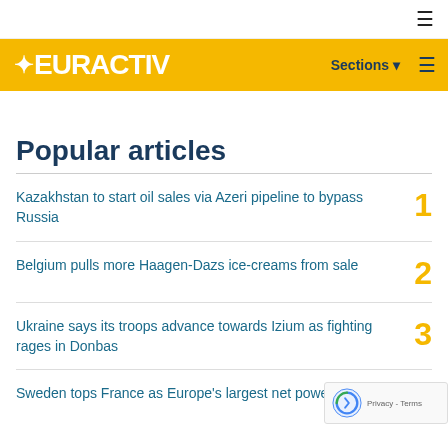☰
EURACTIV  Sections ▾  ☰
Popular articles
Kazakhstan to start oil sales via Azeri pipeline to bypass Russia  1
Belgium pulls more Haagen-Dazs ice-creams from sale  2
Ukraine says its troops advance towards Izium as fighting rages in Donbas  3
Sweden tops France as Europe's largest net power exporter